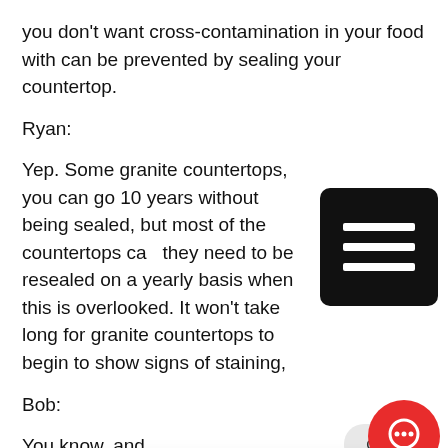you don't want cross-contamination in your food with can be prevented by sealing your countertop.
Ryan:
Yep. Some granite countertops, you can go 10 years without being sealed, but most of the countertops can they need to be resealed on a yearly basis when this is overlooked. It won't take long for granite countertops to begin to show signs of staining,
Bob:
You know, and about over the for a while was granite countertops. And actually that is true. According to the Wikipedia site, potassium 40 is one of the radioactive isotopes that comes out of granite. And then there's a some granites can have other large plutons that can be giving off from different granite. But really the